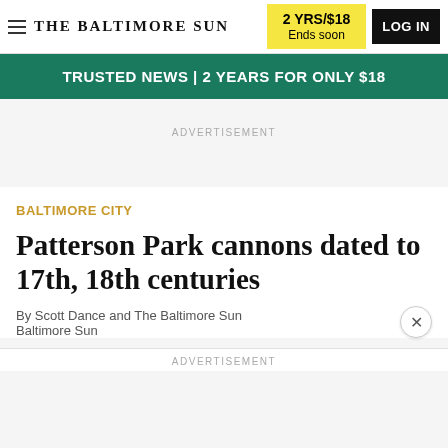THE BALTIMORE SUN
2 YRS/$18 Ends soon
LOG IN
TRUSTED NEWS | 2 YEARS FOR ONLY $18
ADVERTISEMENT
BALTIMORE CITY
Patterson Park cannons dated to 17th, 18th centuries
By Scott Dance and The Baltimore Sun
Baltimore Sun
ADVERTISEMENT